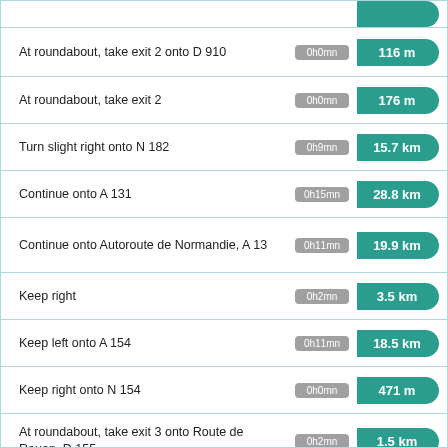| Instruction | Time | Distance |
| --- | --- | --- |
| At roundabout, take exit 2 onto D 910 | 0h0mn | 116 m |
| At roundabout, take exit 2 | 0h0mn | 176 m |
| Turn slight right onto N 182 | 0h9mn | 15.7 km |
| Continue onto A 131 | 0h15mn | 28.8 km |
| Continue onto Autoroute de Normandie, A 13 | 0h11mn | 19.9 km |
| Keep right | 0h2mn | 3.5 km |
| Keep left onto A 154 | 0h11mn | 18.5 km |
| Keep right onto N 154 | 0h0mn | 471 m |
| At roundabout, take exit 3 onto Route de Rouen, D 155 | 0h2mn | 1.5 km |
| At roundabout, take exit 2 onto Avenue Aristide Briand, D 155 | 0h2mn | 1.7 km |
| At roundabout, take exit 2 onto Rue du Maréchal Joffre | 0h1mn | 924 m |